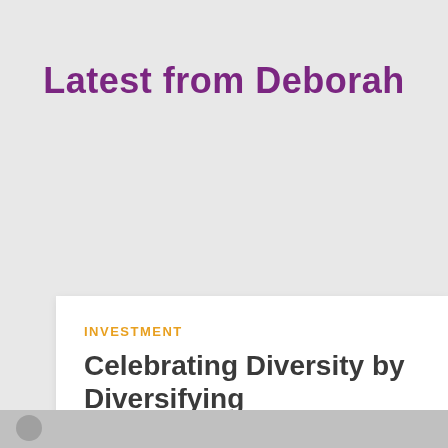Latest from Deborah
INVESTMENT
Celebrating Diversity by Diversifying Celebrations
The UK leaders in Christmas Decorations of Colour
READ MORE
[Figure (photo): Bottom strip showing partial view of an image]